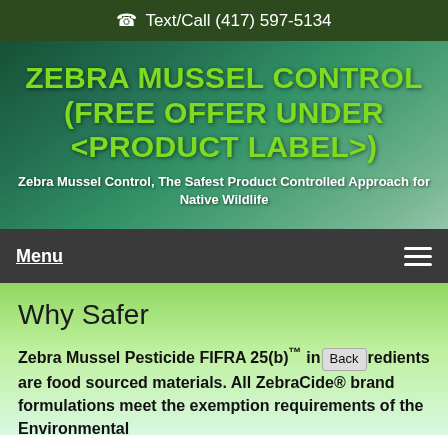Text/Call (417) 597-5134
ZEBRA MUSSEL CONTROL (FREE OFFER UNDER <PRODUCT LABEL>)
Zebra Mussel Control, The Safest Product Controlled Approach for Native Wildlife
Menu
Why Safer
Zebra Mussel Pesticide FIFRA 25(b)™ ingredients are food sourced materials. All ZebraCide® brand formulations meet the exemption requirements of the Environmental